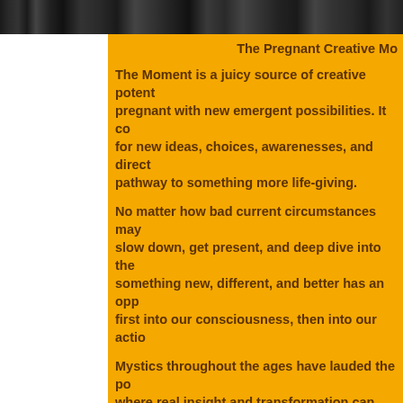[Figure (photo): Dark grayscale photo strip at the top of the page showing people]
The Pregnant Creative Mo
The Moment is a juicy source of creative potent pregnant with new emergent possibilities. It co for new ideas, choices, awarenesses, and direct pathway to something more life-giving.
No matter how bad current circumstances may slow down, get present, and deep dive into the something new, different, and better has an opp first into our consciousness, then into our actio
Mystics throughout the ages have lauded the po where real insight and transformation can arise the creativity embedded in the moment to crea time. The moment allows for creating somethin birthing something new.